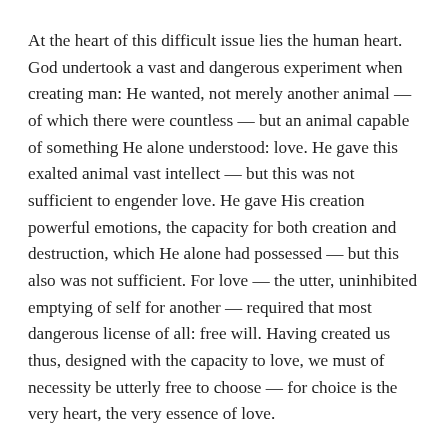At the heart of this difficult issue lies the human heart. God undertook a vast and dangerous experiment when creating man: He wanted, not merely another animal — of which there were countless — but an animal capable of something He alone understood: love. He gave this exalted animal vast intellect — but this was not sufficient to engender love. He gave His creation powerful emotions, the capacity for both creation and destruction, which He alone had possessed — but this also was not sufficient. For love — the utter, uninhibited emptying of self for another — required that most dangerous license of all: free will. Having created us thus, designed with the capacity to love, we must of necessity be utterly free to choose — for choice is the very heart, the very essence of love.